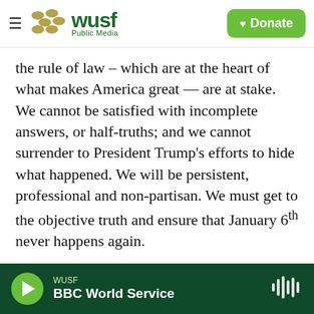WUSF Public Media | Donate
the rule of law – which are at the heart of what makes America great — are at stake. We cannot be satisfied with incomplete answers, or half-truths; and we cannot surrender to President Trump's efforts to hide what happened. We will be persistent, professional and non-partisan. We must get to the objective truth and ensure that January 6th never happens again.
Thompson remarks, as prepared for
WUSF BBC World Service